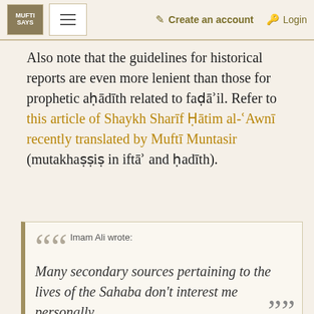MUFTI SAYS  [menu]  Create an account  Login
Also note that the guidelines for historical reports are even more lenient than those for prophetic aḥādīth related to faḍāʾil. Refer to this article of Shaykh Sharīf Ḥātim al-ʿAwnī recently translated by Muftī Muntasir (mutakhaṣṣiṣ in iftāʾ and ḥadīth).
Imam Ali wrote: Many secondary sources pertaining to the lives of the Sahaba don't interest me personally.